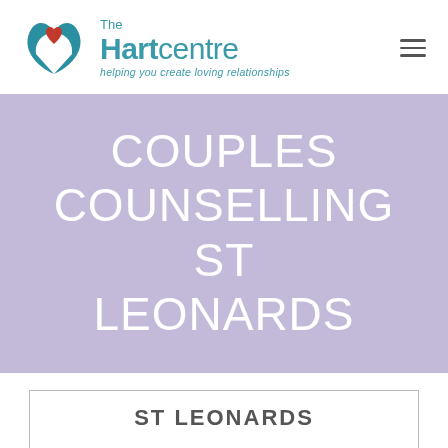[Figure (logo): The Hart Centre logo with teal heart and swoosh icon, teal text reading 'The Hartcentre' with tagline 'helping you create loving relationships']
COUPLES COUNSELLING ST LEONARDS
ST LEONARDS